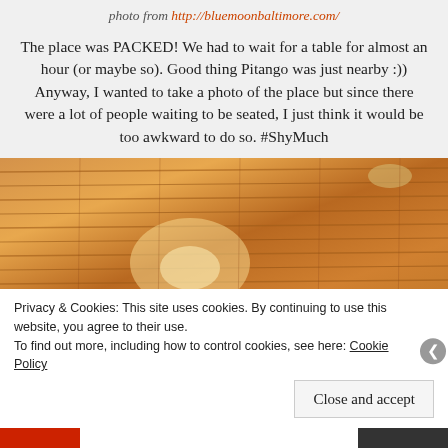photo from http://bluemoonbaltimore.com/
The place was PACKED! We had to wait for a table for almost an hour (or maybe so). Good thing Pitango was just nearby :)) Anyway, I wanted to take a photo of the place but since there were a lot of people waiting to be seated, I just think it would be too awkward to do so. #ShyMuch
[Figure (photo): Interior ceiling of Blue Moon Baltimore restaurant showing warm wooden planked ceiling with chandeliers and string lights]
Privacy & Cookies: This site uses cookies. By continuing to use this website, you agree to their use.
To find out more, including how to control cookies, see here: Cookie Policy
Close and accept